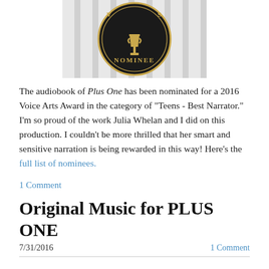[Figure (logo): Circular black badge with gold lettering reading NOMINEE and a gold trophy/award figure in the center. Partial text visible at top reading V...DS (Voice Arts Awards).]
The audiobook of Plus One has been nominated for a 2016 Voice Arts Award in the category of "Teens - Best Narrator." I'm so proud of the work Julia Whelan and I did on this production. I couldn't be more thrilled that her smart and sensitive narration is being rewarded in this way! Here's the full list of nominees.
1 Comment
Original Music for PLUS ONE
7/31/2016   1 Comment